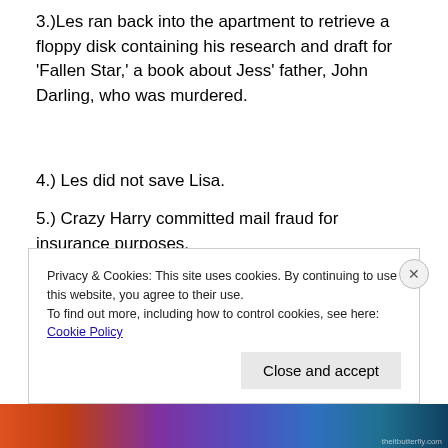3.)Les ran back into the apartment to retrieve a floppy disk containing his research and draft for 'Fallen Star,' a book about Jess' father, John Darling, who was murdered.
4.) Les did not save Lisa.
5.) Crazy Harry committed mail fraud for insurance purposes.
Privacy & Cookies: This site uses cookies. By continuing to use this website, you agree to their use.
To find out more, including how to control cookies, see here: Cookie Policy